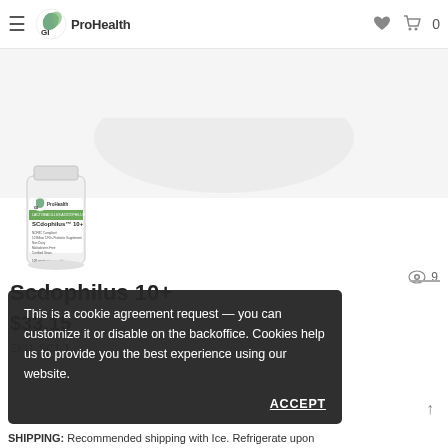GI ProHealth — navigation header with hamburger menu, logo, heart icon, cart icon, and 0 count
[Figure (photo): Product bottle of SCdophilus 10+ probiotic supplement from GI ProHealth, white bottle with green label, thumbnail view]
9 (view count)
Scdophilus 10+
$33.15
SKU: SC1-1
This is a cookie agreement request — you can customize it or disable on the backoffice. Cookies help us to provide you the best experience using our website.
ACCEPT
SHIPPING: Recommended shipping with Ice. Refrigerate upon